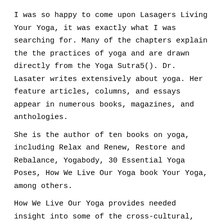I was so happy to come upon Lasagers Living Your Yoga, it was exactly what I was searching for. Many of the chapters explain the the practices of yoga and are drawn directly from the Yoga Sutra5(). Dr. Lasater writes extensively about yoga. Her feature articles, columns, and essays appear in numerous books, magazines, and anthologies.
She is the author of ten books on yoga, including Relax and Renew, Restore and Rebalance, Yogabody, 30 Essential Yoga Poses, How We Live Our Yoga book Your Yoga, among others.
How We Live Our Yoga provides needed insight into some of the cross-cultural, ethical, religious, and physical challenges we meet when trying to ground an ancient discipline in our modern world.
-Richard Freeman, director of the Yoga Workshop This wonderful collection of thought-provoking, well-written personal essays will provide the reader with insight into the everyday world of the 55(2). Living Your Yoga is divided into three parts of seven chapters each (21 chapters in total. ) The social circle widens as one goes through the parts.